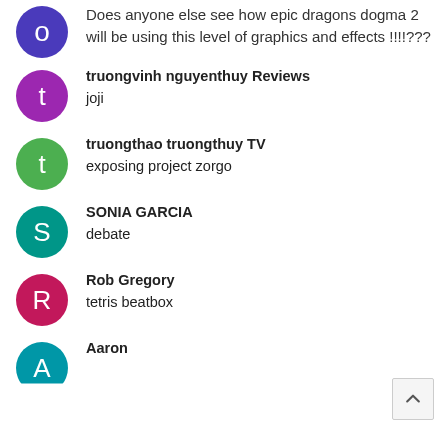Does anyone else see how epic dragons dogma 2 will be using this level of graphics and effects !!!!???
truongvinh nguyenthuy Reviews
joji
truongthao truongthuy TV
exposing project zorgo
SONIA GARCIA
debate
Rob Gregory
tetris beatbox
Aaron